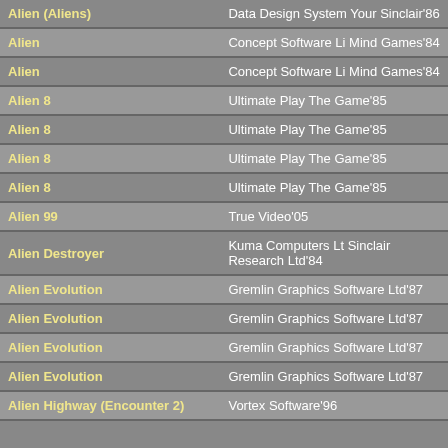| Game | Publisher |
| --- | --- |
| Alien (Aliens) | Data Design System Your Sinclair'86 |
| Alien | Concept Software Li Mind Games'84 |
| Alien | Concept Software Li Mind Games'84 |
| Alien 8 | Ultimate Play The Game'85 |
| Alien 8 | Ultimate Play The Game'85 |
| Alien 8 | Ultimate Play The Game'85 |
| Alien 8 | Ultimate Play The Game'85 |
| Alien 99 | True Video'05 |
| Alien Destroyer | Kuma Computers Lt Sinclair Research Ltd'84 |
| Alien Evolution | Gremlin Graphics Software Ltd'87 |
| Alien Evolution | Gremlin Graphics Software Ltd'87 |
| Alien Evolution | Gremlin Graphics Software Ltd'87 |
| Alien Evolution | Gremlin Graphics Software Ltd'87 |
| Alien Highway (Encounter 2) | Vortex Software'96 |